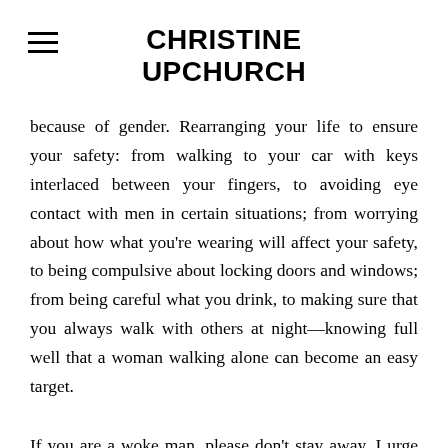CHRISTINE UPCHURCH
because of gender. Rearranging your life to ensure your safety: from walking to your car with keys interlaced between your fingers, to avoiding eye contact with men in certain situations; from worrying about how what you're wearing will affect your safety, to being compulsive about locking doors and windows; from being careful what you drink, to making sure that you always walk with others at night—knowing full well that a woman walking alone can become an easy target.
If you are a woke man, please don't stay away. I urge you to come join your sisters around this bonfire. Add